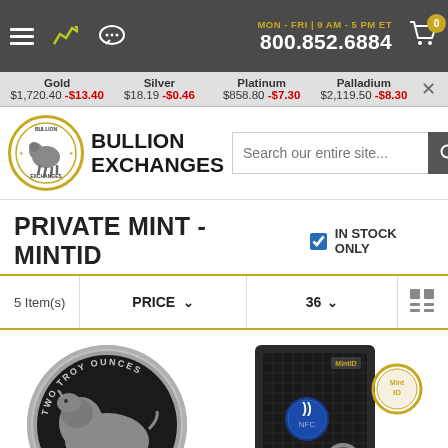MON - FRI | 9 AM - 5 PM ET  800.852.6884  Cart: 0
Gold $1,720.40 -$13.40  Silver $18.19 -$0.46  Platinum $858.80 -$7.30  Palladium $2,119.50 -$8.30
[Figure (logo): Bullion Exchanges logo — circular gold-bordered emblem with bison, text BULLION EXCHANGES]
Search our entire site...
PRIVATE MINT - MINTID
IN STOCK ONLY
| 5 Item(s) | PRICE ∨ | 36 ∨ | View |
| --- | --- | --- | --- |
[Figure (photo): Silver coin showing bison/buffalo with text TWO TROY OUNCES]
[Figure (photo): MintID silver bar in protective casing with NFC chip (NJ logo) and MintID branding]